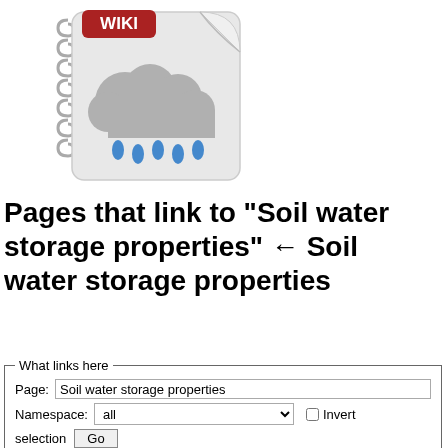[Figure (logo): Wiki notebook logo with rain cloud icon — a spiral-bound notebook with a cloud and raindrops illustration and a red 'WIKI' badge in the top-left corner]
Pages that link to "Soil water storage properties" ← Soil water storage properties
What links here — fieldset form with Page: Soil water storage properties, Namespace: all dropdown, Invert checkbox, selection Go button